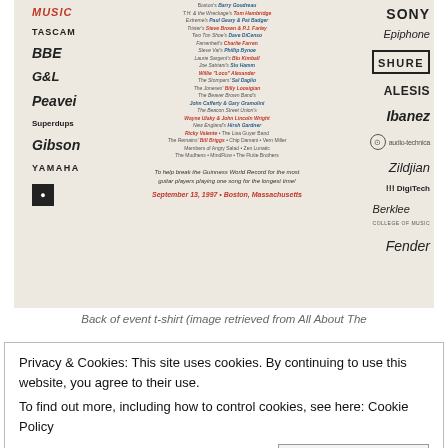[Figure (photo): Back of an event t-shirt from September 13, 1997, Boston, Massachusetts. Features brand logos (TASCAM, BBE, G&L, Peavey, Superdups, Gibson, Yamaha, Sony, Epiphone, Shure, Alesis, Ibanez, Audio-Technica, Zildjian, DigiTech, Berklee, Fender) and names of musicians/bands in red and blue italic text. Bottom text reads: 'To help break the Guinness World Record for the most guitar players playing one song for the longest time! September 13, 1997 • Boston, Massachusetts']
Back of event t-shirt (image retrieved from All About The
Privacy & Cookies: This site uses cookies. By continuing to use this website, you agree to their use.
To find out more, including how to control cookies, see here: Cookie Policy
Close and accept
John Cafferty, Gary Gramolini (of the Beaver